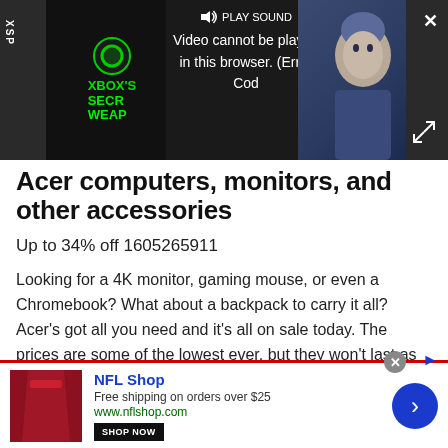[Figure (screenshot): Video player overlay showing Xbox advertisement with error message: 'Video cannot be played in this browser. (Error Cod' and PLAY SOUND button. Dark background with Xbox logo and 'XBOX'S SECR WEAL' text visible. Close (X) button top right and expand arrows bottom right.]
Acer computers, monitors, and other accessories
Up to 34% off 1605265911
Looking for a 4K monitor, gaming mouse, or even a Chromebook? What about a backpack to carry it all? Acer's got all you need and it's all on sale today. The prices are some of the lowest ever, but they won't last as this sale expires tonight.
[Figure (screenshot): NFL Shop advertisement banner. Shows red jersey/clothing image on left, NFL Shop title in blue, 'Free shipping on orders over $25', 'www.nflshop.com' in green, SHOP NOW button, and blue arrow circle button on right. Red border on top.]